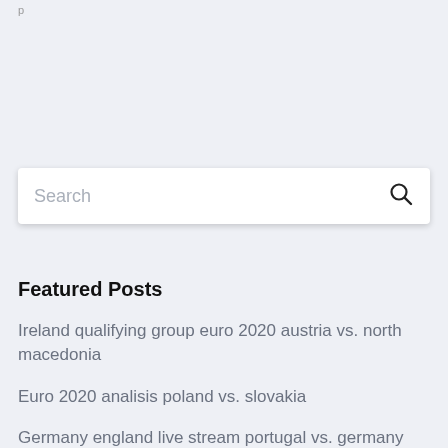[Figure (screenshot): Search input box with placeholder text 'Search' and a search icon on the right, white background with shadow, on a light blue-grey page background.]
Featured Posts
Ireland qualifying group euro 2020 austria vs. north macedonia
Euro 2020 analisis poland vs. slovakia
Germany england live stream portugal vs. germany